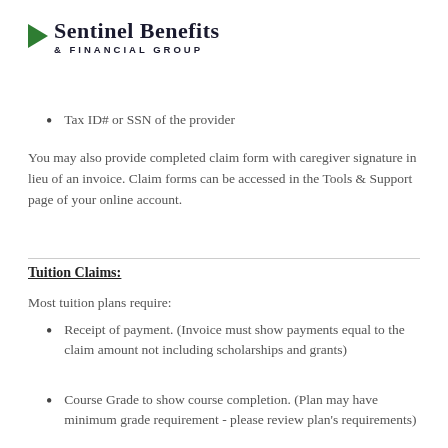Sentinel Benefits & Financial Group
Tax ID# or SSN of the provider
You may also provide completed claim form with caregiver signature in lieu of an invoice. Claim forms can be accessed in the Tools & Support page of your online account.
Tuition Claims:
Most tuition plans require:
Receipt of payment. (Invoice must show payments equal to the claim amount not including scholarships and grants)
Course Grade to show course completion. (Plan may have minimum grade requirement - please review plan's requirements)